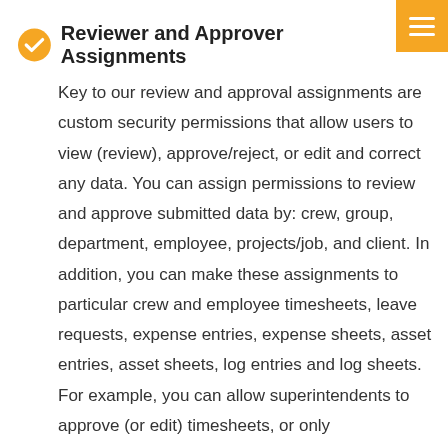Reviewer and Approver Assignments
Key to our review and approval assignments are custom security permissions that allow users to view (review), approve/reject, or edit and correct any data. You can assign permissions to review and approve submitted data by: crew, group, department, employee, projects/job, and client. In addition, you can make these assignments to particular crew and employee timesheets, leave requests, expense entries, expense sheets, asset entries, asset sheets, log entries and log sheets. For example, you can allow superintendents to approve (or edit) timesheets, or only approve/reject. You can allow project accounting and payroll to not approve but they could edit and re-approve. So whatever the